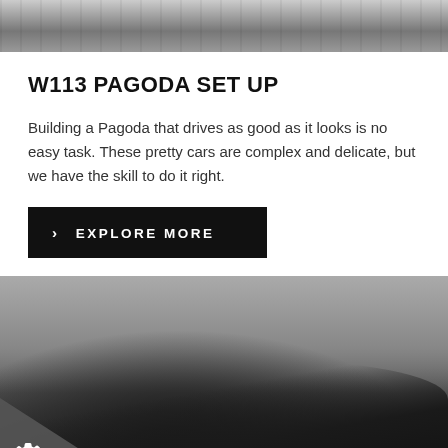[Figure (photo): Black and white photo of cars or automotive scene, partially visible at top of page]
W113 PAGODA SET UP
Building a Pagoda that drives as good as it looks is no easy task. These pretty cars are complex and delicate, but we have the skill to do it right.
› EXPLORE MORE
[Figure (photo): Black and white photograph of a stripped-down classic car chassis/shell on a lift in a workshop garage]